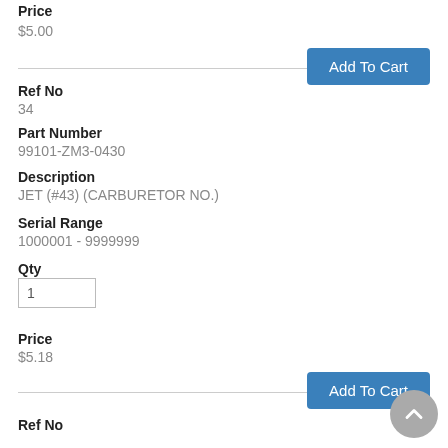Price
$5.00
Add To Cart
Ref No
34
Part Number
99101-ZM3-0430
Description
JET (#43) (CARBURETOR NO.)
Serial Range
1000001 - 9999999
Qty
1
Price
$5.18
Add To Cart
Ref No